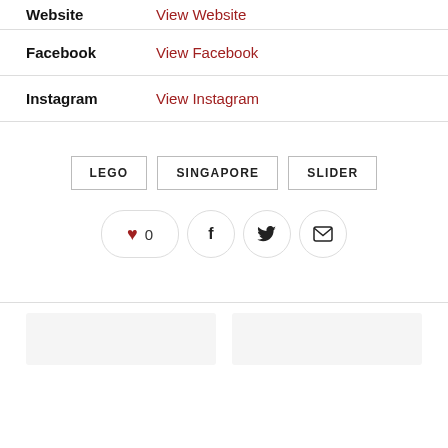Website — View Website (partial, top of page)
Facebook — View Facebook
Instagram — View Instagram
LEGO
SINGAPORE
SLIDER
[Figure (infographic): Row of social sharing icons: heart with count 0, Facebook f icon, Twitter bird icon, email envelope icon]